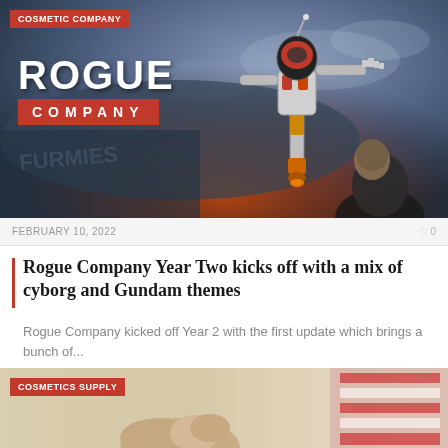[Figure (photo): Rogue Company game promotional image with COSMETIC COMPANY badge overlay, showing the Rogue Company logo and a cyborg character]
FEBRUARY 10, 2022
0
Rogue Company Year Two kicks off with a mix of cyborg and Gundam themes
Rogue Company kicked off Year 2 with the first update which brings a bunch of...
[Figure (photo): Second article image with COSMETICS SUPPLY badge overlay showing a person holding something with a flag in background]